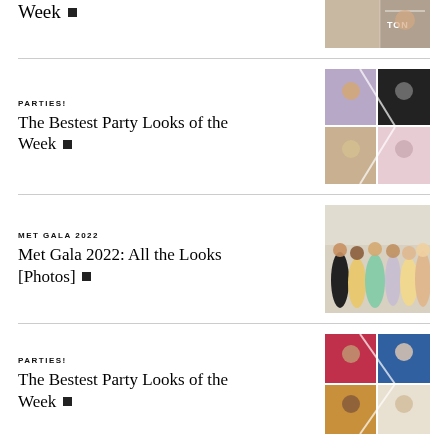[Figure (photo): Partial article row at top showing article title 'Week' with small arrow icon and a partial photo of a woman at Tony Awards event]
Week ▪
[Figure (photo): Collage of four celebrity photos from party events]
PARTIES!
The Bestest Party Looks of the Week ▪
[Figure (photo): Group of celebrities in gowns at Met Gala 2022]
MET GALA 2022
Met Gala 2022: All the Looks [Photos] ▪
[Figure (photo): Collage of four celebrity photos from party events]
PARTIES!
The Bestest Party Looks of the Week ▪